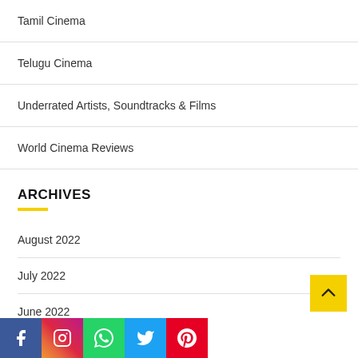Tamil Cinema
Telugu Cinema
Underrated Artists, Soundtracks & Films
World Cinema Reviews
ARCHIVES
August 2022
July 2022
June 2022